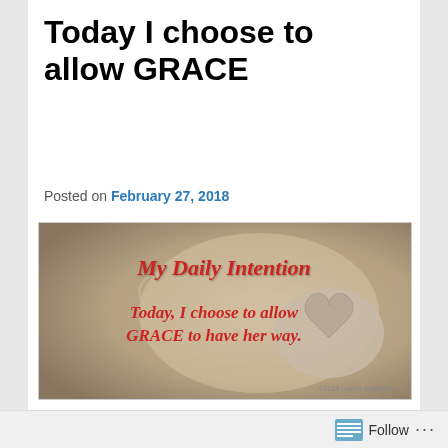Today I choose to allow GRACE
Posted on February 27, 2018
[Figure (illustration): Inspirational image with beige/sandy textured background showing heart shapes, with red italic text reading 'My Daily Intention' at top and 'Today, I choose to allow GRACE to have her way.' in the middle. Copyright 2018 Louisa Gallagher shown at bottom right.]
This morning, a friend sent me a tweet about the impact of